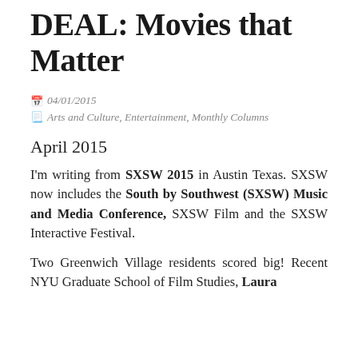DEAL: Movies that Matter
04/01/2015   Arts and Culture, Entertainment, Monthly Columns
April 2015
I'm writing from SXSW 2015 in Austin Texas. SXSW now includes the South by Southwest (SXSW) Music and Media Conference, SXSW Film and the SXSW Interactive Festival.
Two Greenwich Village residents scored big! Recent NYU Graduate School of Film Studies, Laura